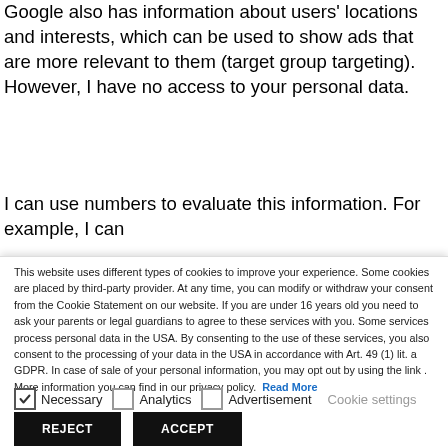Google also has information about users' locations and interests, which can be used to show ads that are more relevant to them (target group targeting). However, I have no access to your personal data.
I can use numbers to evaluate this information. For example, I can
This website uses different types of cookies to improve your experience. Some cookies are placed by third-party provider. At any time, you can modify or withdraw your consent from the Cookie Statement on our website. If you are under 16 years old you need to ask your parents or legal guardians to agree to these services with you. Some services process personal data in the USA. By consenting to the use of these services, you also consent to the processing of your data in the USA in accordance with Art. 49 (1) lit. a GDPR. In case of sale of your personal information, you may opt out by using the link . More information you can find in our privacy policy.  Read More